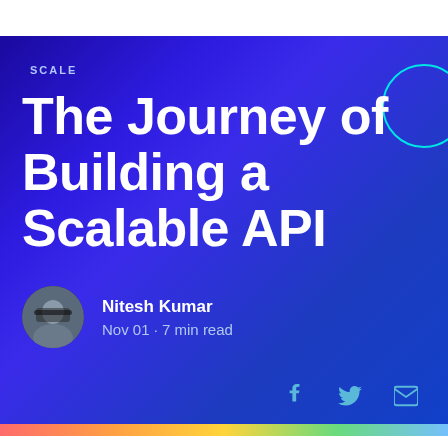SCALE
The Journey of Building a Scalable API
Nitesh Kumar
Nov 01 - 7 min read
[Figure (illustration): Social share icons: Facebook, Twitter, Email in teal/cyan color at bottom right of hero banner]
[Figure (illustration): Colorful bottom strip with gradient from red/orange/yellow/green/blue]